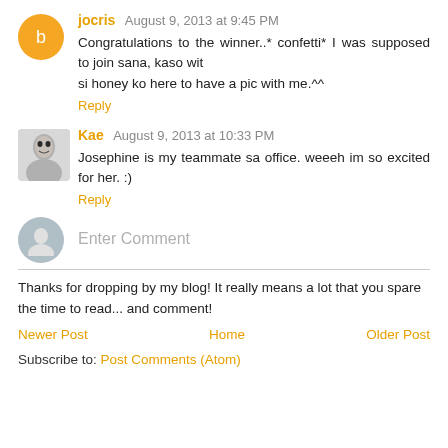jocris  August 9, 2013 at 9:45 PM
Congratulations to the winner..* confetti* I was supposed to join sana, kaso wit
si honey ko here to have a pic with me.^^
Reply
Kae  August 9, 2013 at 10:33 PM
Josephine is my teammate sa office. weeeh im so excited for her. :)
Reply
Enter Comment
Thanks for dropping by my blog! It really means a lot that you spare the time to read... and comment!
Newer Post    Home    Older Post
Subscribe to: Post Comments (Atom)